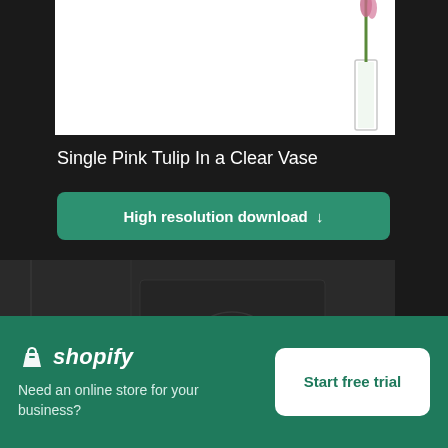[Figure (photo): Partial view of a single pink tulip in a clear glass vase against white background, cropped at top]
Single Pink Tulip In a Clear Vase
High resolution download ↓
[Figure (photo): Dark ornate door with decorative carved panel and metallic door handle/knob]
[Figure (screenshot): Shopify advertisement banner with logo, tagline 'Need an online store for your business?' and 'Start free trial' button]